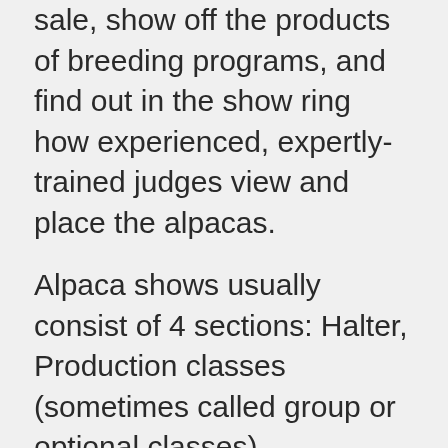sale, show off the products of breeding programs, and find out in the show ring how experienced, expertly-trained judges view and place the alpacas.
Alpaca shows usually consist of 4 sections: Halter, Production classes (sometimes called group or optional classes), performance classes and fleece/fiber arts. The halter classes may be further divided into regular halter, shorn and composite. In all halter classes, group and fleece classes, suri and huacaya alpacas are shown separately. In the performance ring, they compete together. In the halter classes, males and females are shown separately. Some shows may only offer halter classes, but larger shows are strongly encouraged to